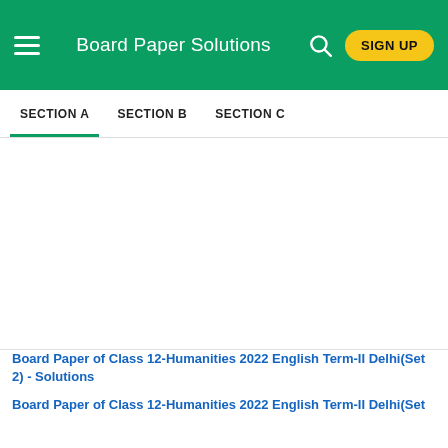Board Paper Solutions
SECTION A  SECTION B  SECTION C
Board Paper of Class 12-Humanities 2022 English Term-II Delhi(Set 2) - Solutions
Board Paper of Class 12-Humanities 2022 English Term-II Delhi(Set